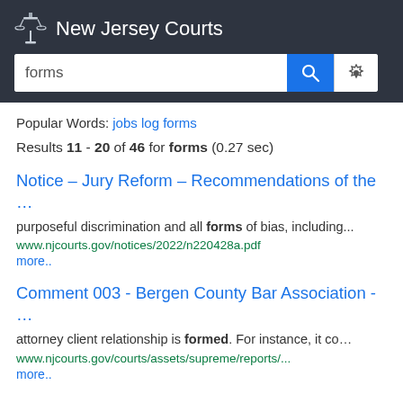New Jersey Courts
Popular Words: jobs log forms
Results 11 - 20 of 46 for forms (0.27 sec)
Notice – Jury Reform – Recommendations of the …
purposeful discrimination and all forms of bias, including... www.njcourts.gov/notices/2022/n220428a.pdf more..
Comment 003 - Bergen County Bar Association - …
attorney client relationship is formed. For instance, it co… www.njcourts.gov/courts/assets/supreme/reports/... more..